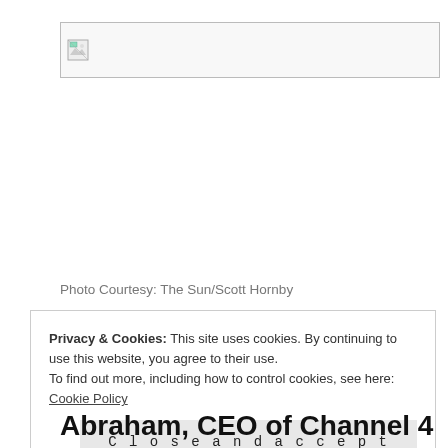[Figure (photo): Broken/unloaded image placeholder shown as a bordered rectangle with a small broken image icon in the top-left corner]
Photo Courtesy: The Sun/Scott Hornby
Privacy & Cookies: This site uses cookies. By continuing to use this website, you agree to their use.
To find out more, including how to control cookies, see here: Cookie Policy
Close and accept
Abraham, CEO of Channel 4